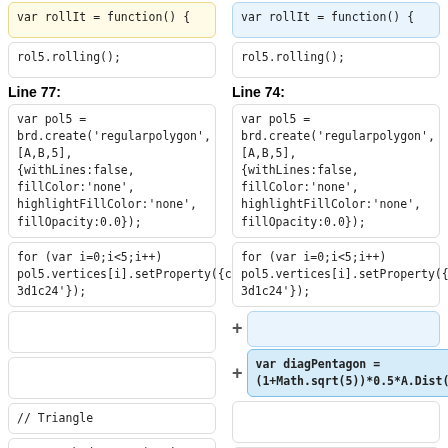var rollIt = function() {
rol5.rolling();
var rollIt = function() {
rol5.rolling();
Line 77:
Line 74:
var pol5 =
brd.create('regularpolygon',[A,B,5],
{withLines:false, fillColor:'none',
highlightFillColor:'none',
fillOpacity:0.0});
var pol5 =
brd.create('regularpolygon',[A,B,5],
{withLines:false, fillColor:'none',
highlightFillColor:'none',
fillOpacity:0.0});
for (var i=0;i<5;i++)
pol5.vertices[i].setProperty({color:'#3d1c24'});
for (var i=0;i<5;i++)
pol5.vertices[i].setProperty({color:'#3d1c24'});
(empty line)
var diagPentagon =
(1+Math.sqrt(5))*0.5*A.Dist(B);
(empty box)
(empty box)
// Triangle
// Triangle
var C = brd.create('point',[-2,-2]);
var C = brd.create('point',[-2,-2]);